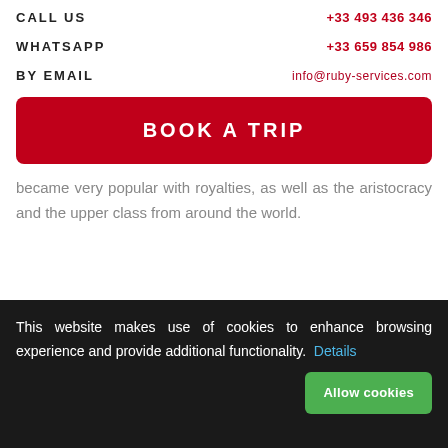CALL US   +33 493 436 346
WHATSAPP   +33 659 854 986
BY EMAIL   info@ruby-services.com
BOOK A TRIP
became very popular with royalties, as well as the aristocracy and the upper class from around the world.
This website makes use of cookies to enhance browsing experience and provide additional functionality. Details   Allow cookies